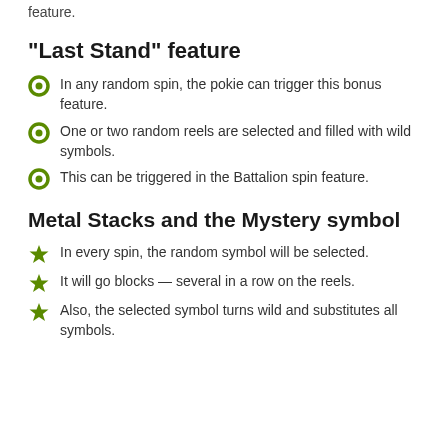feature.
"Last Stand" feature
In any random spin, the pokie can trigger this bonus feature.
One or two random reels are selected and filled with wild symbols.
This can be triggered in the Battalion spin feature.
Metal Stacks and the Mystery symbol
In every spin, the random symbol will be selected.
It will go blocks — several in a row on the reels.
Also, the selected symbol turns wild and substitutes all symbols.